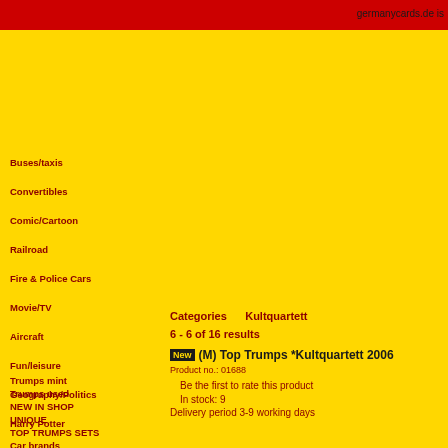germanycards.de is
Trumps mint
Trumps used
NEW IN SHOP
UNIQUE
TOP TRUMPS SETS
Car brands
Buses/taxis
Convertibles
Comic/Cartoon
Railroad
Fire & Police Cars
Movie/TV
Aircraft
Fun/leisure
Geography/Politics
Harry Potter
Categories   Kultquartett
6 - 6 of 16 results
New  (M) Top Trumps *Kultquartett 2006
Product no.: 01688
Be the first to rate this product
In stock: 9
Delivery period 3-9 working days